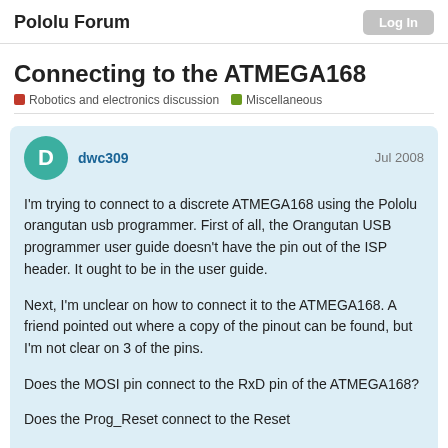Pololu Forum
Connecting to the ATMEGA168
Robotics and electronics discussion   Miscellaneous
dwc309   Jul 2008
I'm trying to connect to a discrete ATMEGA168 using the Pololu orangutan usb programmer. First of all, the Orangutan USB programmer user guide doesn't have the pin out of the ISP header. It ought to be in the user guide.

Next, I'm unclear on how to connect it to the ATMEGA168. A friend pointed out where a copy of the pinout can be found, but I'm not clear on 3 of the pins.

Does the MOSI pin connect to the RxD pin of the ATMEGA168?

Does the Prog_Reset connect to the Reset of the ATMEGA168?
1 / 11